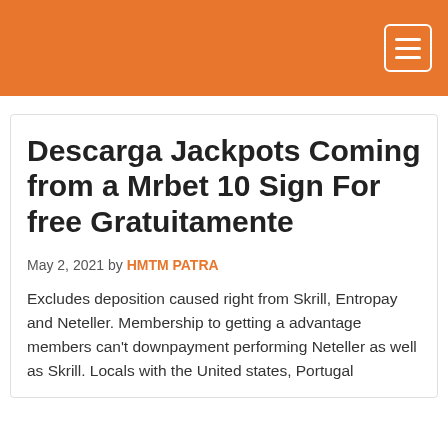Descarga Jackpots Coming from a Mrbet 10 Sign For free Gratuitamente
May 2, 2021 by HMTM PATRA
Excludes deposition caused right from Skrill, Entropay and Neteller. Membership to getting a advantage members can't downpayment performing Neteller as well as Skrill. Locals with the United states, Portugal